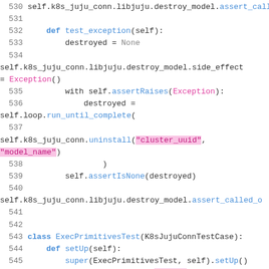[Figure (screenshot): Python source code snippet showing lines 530-547 of a test file. Contains code for test_exception method and ExecPrimitivesTest class with syntax highlighting in blue, pink/magenta for identifiers and string literals, on white background with gray line numbers.]